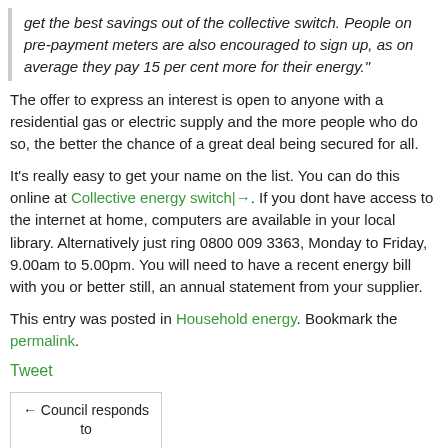get the best savings out of the collective switch. People on pre-payment meters are also encouraged to sign up, as on average they pay 15 per cent more for their energy."
The offer to express an interest is open to anyone with a residential gas or electric supply and the more people who do so, the better the chance of a great deal being secured for all.
It's really easy to get your name on the list. You can do this online at Collective energy switch|→. If you dont have access to the internet at home, computers are available in your local library. Alternatively just ring 0800 009 3363, Monday to Friday, 9.00am to 5.00pm. You will need to have a recent energy bill with you or better still, an annual statement from your supplier.
This entry was posted in Household energy. Bookmark the permalink.
Tweet
← Council responds to